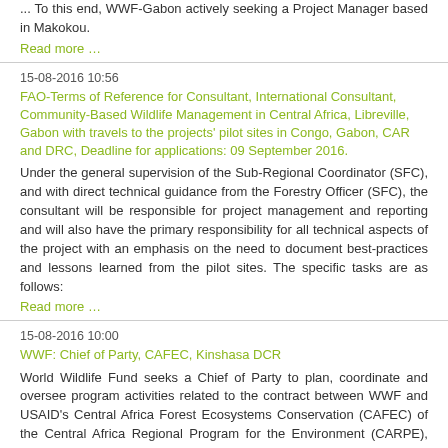... To this end, WWF-Gabon actively seeking a Project Manager based in Makokou.
Read more …
15-08-2016 10:56
FAO-Terms of Reference for Consultant, International Consultant, Community-Based Wildlife Management in Central Africa, Libreville, Gabon with travels to the projects' pilot sites in Congo, Gabon, CAR and DRC, Deadline for applications: 09 September 2016.
Under the general supervision of the Sub-Regional Coordinator (SFC), and with direct technical guidance from the Forestry Officer (SFC), the consultant will be responsible for project management and reporting and will also have the primary responsibility for all technical aspects of the project with an emphasis on the need to document best-practices and lessons learned from the pilot sites. The specific tasks are as follows:
Read more …
15-08-2016 10:00
WWF: Chief of Party, CAFEC, Kinshasa DCR
World Wildlife Fund seeks a Chief of Party to plan, coordinate and oversee program activities related to the contract between WWF and USAID's Central Africa Forest Ecosystems Conservation (CAFEC) of the Central Africa Regional Program for the Environment (CARPE), Phase III, to support the goal of CAFEC which is to maintain the ecological integrity of the humid forest ecosystems of the Congo Basin through sustainable management of forests and reduction of threats to biodiversity, specifically in four Landscapes of the Democratic Republic of the Congo.
Read more …
15-08-2016 09:43
ABCG: Engagement Internship, Washingtonn DC